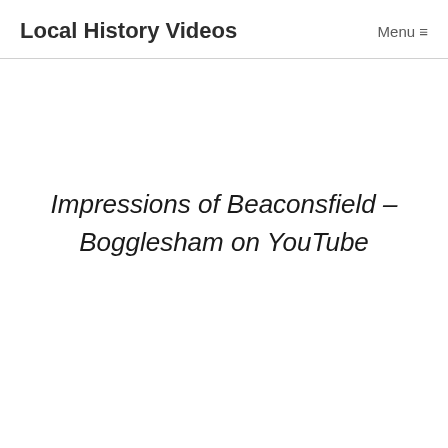Local History Videos   Menu ☰
Impressions of Beaconsfield – Bogglesham on YouTube